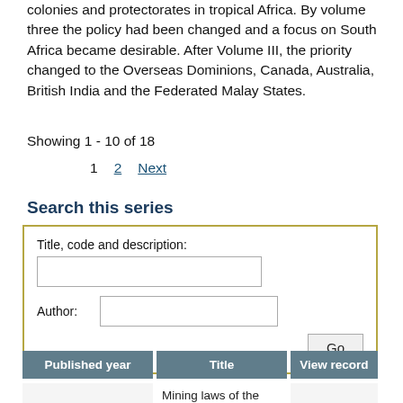colonies and protectorates in tropical Africa. By volume three the policy had been changed and a focus on South Africa became desirable. After Volume III, the priority changed to the Overseas Dominions, Canada, Australia, British India and the Federated Malay States.
Showing 1 - 10 of 18
1  2  Next
Search this series
Title, code and description:
Author:
| Published year | Title | View record |
| --- | --- | --- |
|  | Mining laws of the British Empire and... |  |